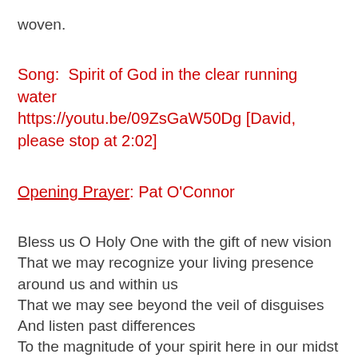woven.
Song:  Spirit of God in the clear running water
https://youtu.be/09ZsGaW50Dg [David, please stop at 2:02]
Opening Prayer: Pat O’Connor
Bless us O Holy One with the gift of new vision
That we may recognize your living presence around us and within us
That we may see beyond the veil of disguises
And listen past differences
To the magnitude of your spirit here in our midst
May our hearts hear your call to